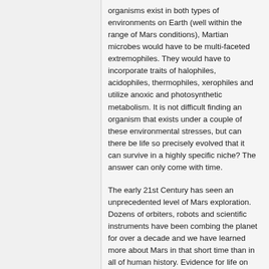organisms exist in both types of environments on Earth (well within the range of Mars conditions), Martian microbes would have to be multi-faceted extremophiles. They would have to incorporate traits of halophiles, acidophiles, thermophiles, xerophiles and utilize anoxic and photosynthetic metabolism. It is not difficult finding an organism that exists under a couple of these environmental stresses, but can there be life so precisely evolved that it can survive in a highly specific niche? The answer can only come with time.
The early 21st Century has seen an unprecedented level of Mars exploration. Dozens of orbiters, robots and scientific instruments have been combing the planet for over a decade and we have learned more about Mars in that short time than in all of human history. Evidence for life on the Red Planet, past and/or present, is mounting. All we have to do is keep looking for this century's little green men.